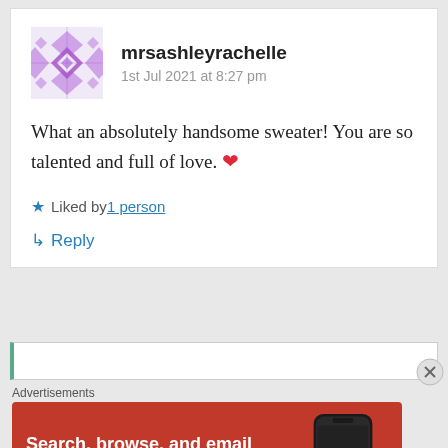mrsashleyrachelle
1st Jul 2021 at 8:27 pm
What an absolutely handsome sweater! You are so talented and full of love. ❤
★ Liked by 1 person
↳ Reply
Advertisements
[Figure (screenshot): DuckDuckGo advertisement banner with orange background: 'Search, browse, and email with more privacy. All in One Free App' with phone graphic and DuckDuckGo logo]